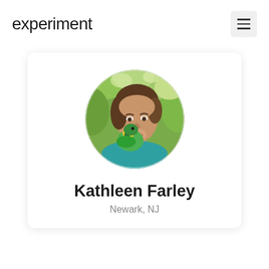experiment
[Figure (photo): Circular profile photo of Kathleen Farley, a woman with brown hair holding a green and yellow parrot/bird close to her face, outdoors with green foliage in the background. She is wearing a teal/turquoise top.]
Kathleen Farley
Newark, NJ